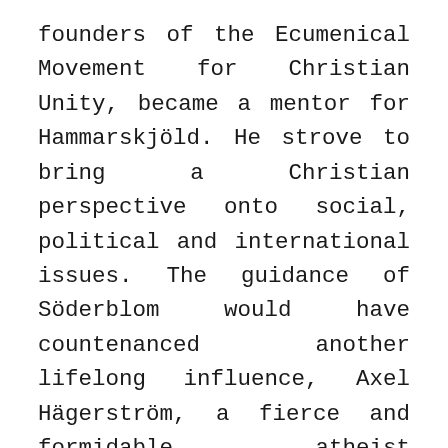founders of the Ecumenical Movement for Christian Unity, became a mentor for Hammarskjöld. He strove to bring a Christian perspective onto social, political and international issues. The guidance of Söderblom would have countenanced another lifelong influence, Axel Hägerström, a fierce and formidable atheist professor of philosophy who taught him at University. Where Hammarskjöld came to value the intellectual rigour, language and method Hägerström disciplined into his thinking, he came to